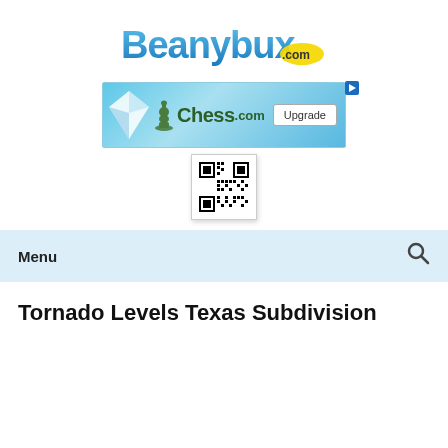[Figure (logo): Beanybux.com logo in blue and yellow stylized text]
[Figure (screenshot): Chess.com advertisement banner with blue background, diamond icon, chess piece, and Upgrade button]
[Figure (other): QR code in white box with shadow]
Menu
Tornado Levels Texas Subdivision